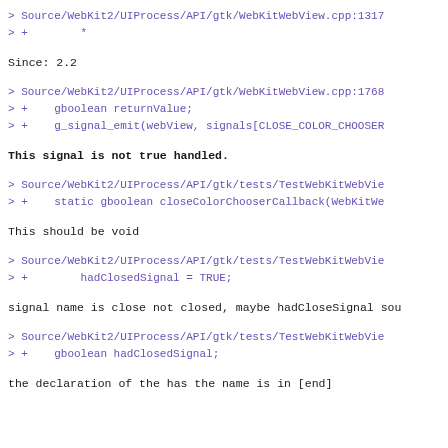> Source/WebKit2/UIProcess/API/gtk/WebKitWebView.cpp:1317
> +        *
Since: 2.2
> Source/WebKit2/UIProcess/API/gtk/WebKitWebView.cpp:1768
> +    gboolean returnValue;
> +    g_signal_emit(webView, signals[CLOSE_COLOR_CHOOSER
This signal is not true handled.
> Source/WebKit2/UIProcess/API/gtk/tests/TestWebKitWebVie
> +    static gboolean closeColorChooserCallback(WebKitWe
This should be void
> Source/WebKit2/UIProcess/API/gtk/tests/TestWebKitWebVie
> +        hadClosedSignal = TRUE;
signal name is close not closed, maybe hadCloseSignal sou
> Source/WebKit2/UIProcess/API/gtk/tests/TestWebKitWebVie
> +    gboolean hadClosedSignal;
the declaration of the has the name is in [end]